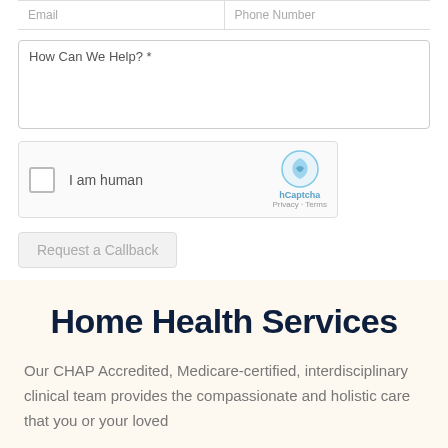Email | Phone Number
How Can We Help? *
[Figure (screenshot): hCaptcha widget with checkbox 'I am human', hCaptcha logo, Privacy and Terms links]
Request a Callback
Home Health Services
Our CHAP Accredited, Medicare-certified, interdisciplinary clinical team provides the compassionate and holistic care that you or your loved